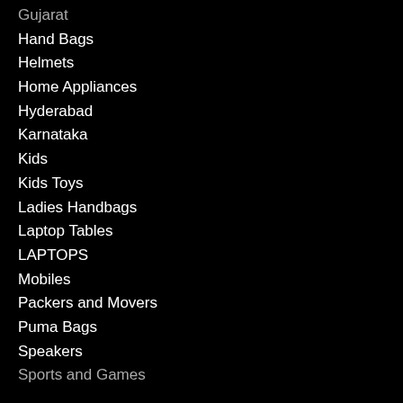Gujarat
Hand Bags
Helmets
Home Appliances
Hyderabad
Karnataka
Kids
Kids Toys
Ladies Handbags
Laptop Tables
LAPTOPS
Mobiles
Packers and Movers
Puma Bags
Speakers
Sports and Games